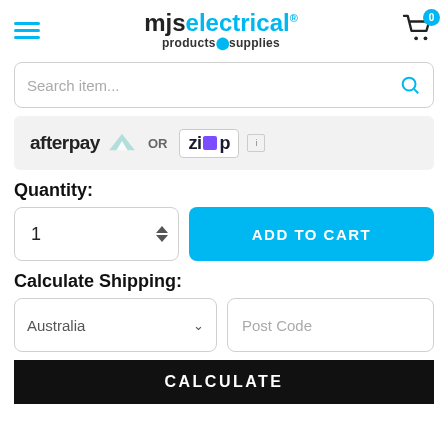mjs electrical products & supplies
Search item...
[Figure (logo): Afterpay logo and Zip logo payment options banner with OR text between them]
Quantity:
1  ADD TO CART
Calculate Shipping:
Australia  Post Code
CALCULATE